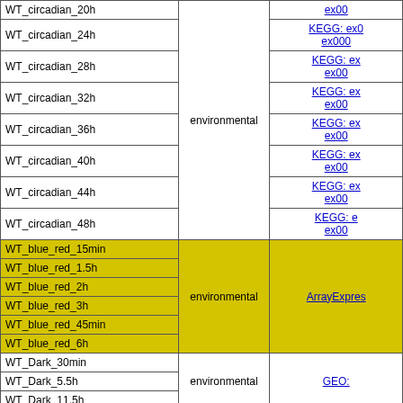| Sample | Type | Source |
| --- | --- | --- |
| WT_circadian_20h | environmental | ex00 / KEGG: ex000 |
| WT_circadian_24h | environmental | KEGG: ex0 / ex000 |
| WT_circadian_28h | environmental | KEGG: ex / ex00 |
| WT_circadian_32h | environmental | KEGG: ex / ex00 |
| WT_circadian_36h | environmental | KEGG: ex / ex00 |
| WT_circadian_40h | environmental | KEGG: ex / ex00 |
| WT_circadian_44h | environmental | KEGG: ex / ex00 |
| WT_circadian_48h | environmental | KEGG: e / ex00 |
| WT_blue_red_15min | environmental | ArrayExpres |
| WT_blue_red_1.5h | environmental | ArrayExpres |
| WT_blue_red_2h | environmental | ArrayExpres |
| WT_blue_red_3h | environmental | ArrayExpres |
| WT_blue_red_45min | environmental | ArrayExpres |
| WT_blue_red_6h | environmental | ArrayExpres |
| WT_Dark_30min | environmental | GEO: |
| WT_Dark_5.5h | environmental | GEO: |
| WT_Dark_11.5h | environmental | GEO: |